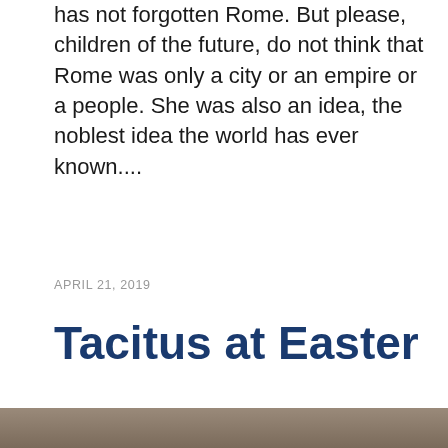has not forgotten Rome. But please, children of the future, do not think that Rome was only a city or an empire or a people. She was also an idea, the noblest idea the world has ever known....
APRIL 21, 2019
Tacitus at Easter
[Figure (photo): Partial photo visible at bottom of page, appears to show people or figures, cropped.]